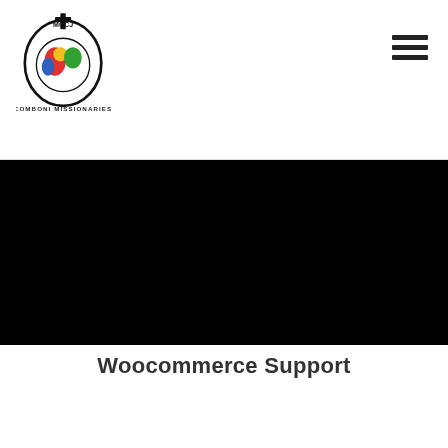[Figure (logo): MCCJ Comboni Missionaries logo — globe with Africa colored in red, yellow, green, blue, encircled by a black oval with a cross at top; text 'MCCJ' at top and 'COMBONI MISSIONARIES' below]
[Figure (other): Hamburger menu icon (three horizontal black lines) in top-right corner of navigation bar]
[Figure (photo): Large black rectangular banner image area spanning full width below the navigation header]
Woocommerce Support